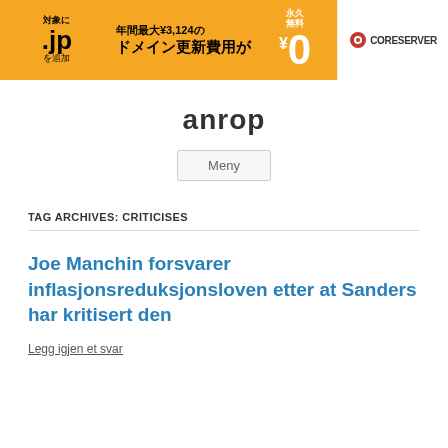[Figure (infographic): Orange and white banner advertisement for CORESERVER .jp domain renewal with Japanese text: 対象に .jp を追加, 年間最大¥3,124の ドメイン更新費用が 永久無料¥0, CORESERVER logo]
anrop
Meny
TAG ARCHIVES: CRITICISES
Joe Manchin forsvarer inflasjonsreduksjonsloven etter at Sanders har kritisert den
Legg igjen et svar